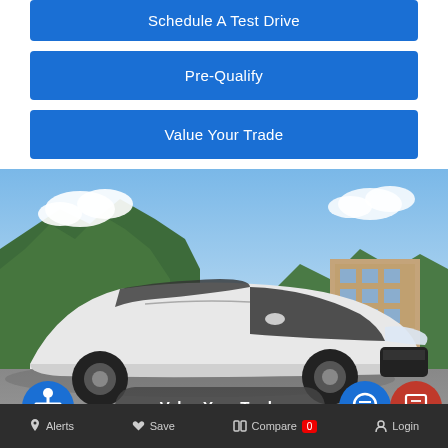Schedule A Test Drive
Pre-Qualify
Value Your Trade
[Figure (photo): White Ford Focus ST hatchback parked in a lot with trees and a building in the background. Overlay buttons: Value Your Trade, accessibility icon, chat icon, and feedback icon.]
Alerts  Save  Compare 0  Login